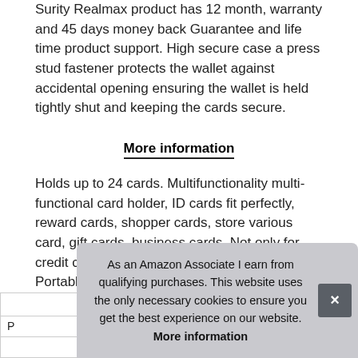Surity Realmax product has 12 month, warranty and 45 days money back Guarantee and life time product support. High secure case a press stud fastener protects the wallet against accidental opening ensuring the wallet is held tightly shut and keeping the cards secure.
More information
Holds up to 24 cards. Multifunctionality multi-functional card holder, ID cards fit perfectly, reward cards, shopper cards, store various card, gift cards, business cards, Not only for credit cards but also membership cards, etc. Portable design and convenient to carry.
| P |  |
As an Amazon Associate I earn from qualifying purchases. This website uses the only necessary cookies to ensure you get the best experience on our website. More information